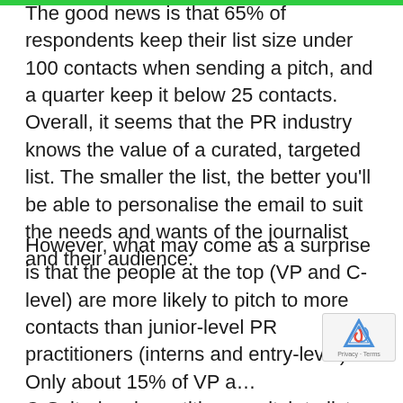The good news is that 65% of respondents keep their list size under 100 contacts when sending a pitch, and a quarter keep it below 25 contacts. Overall, it seems that the PR industry knows the value of a curated, targeted list. The smaller the list, the better you'll be able to personalise the email to suit the needs and wants of the journalist and their audience.
However, what may come as a surprise is that the people at the top (VP and C-level) are more likely to pitch to more contacts than junior-level PR practitioners (interns and entry-level). Only about 15% of VP and C-Suite-level practitioners pitch to list sizes of 25 contacts or less, whilst a third of junior-